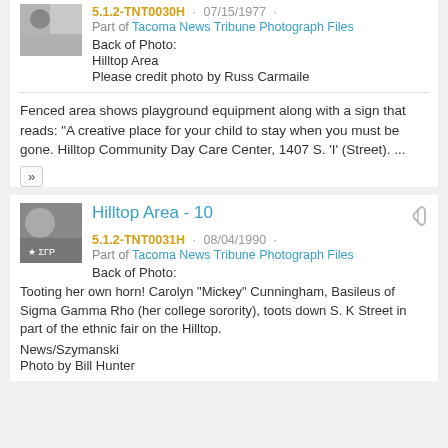5.1.2-TNT0030H · 07/15/1977 ·
Part of Tacoma News Tribune Photograph Files
Back of Photo:
Hilltop Area
Please credit photo by Russ Carmaile
Fenced area shows playground equipment along with a sign that reads: "A creative place for your child to stay when you must be gone. Hilltop Community Day Care Center, 1407 S. 'I' (Street). ...
Hilltop Area - 10
5.1.2-TNT0031H · 08/04/1990 ·
Part of Tacoma News Tribune Photograph Files
Back of Photo:
Tooting her own horn! Carolyn "Mickey" Cunningham, Basileus of Sigma Gamma Rho (her college sorority), toots down S. K Street in part of the ethnic fair on the Hilltop.
News/Szymanski
Photo by Bill Hunter